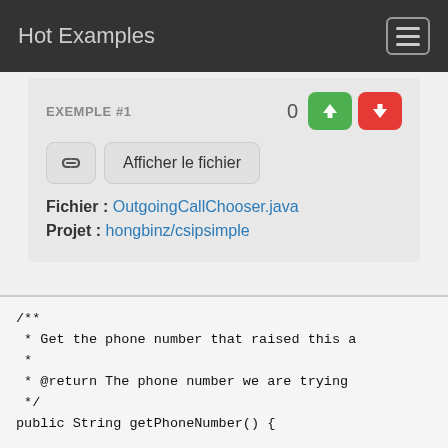Hot Examples
EXEMPLE #1
Afficher le fichier
Fichier : OutgoingCallChooser.java
Projet : hongbinz/csipsimple
/**
 * Get the phone number that raised this a
 *
 * @return The phone number we are trying
 */
public String getPhoneNumber() {